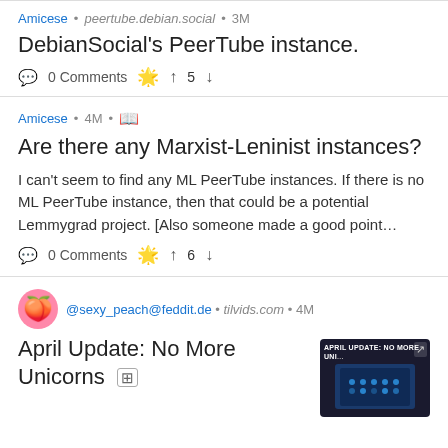Amicese • peertube.debian.social • 3M
DebianSocial's PeerTube instance.
0 Comments ✦ ↑ 5 ↓
Amicese • 4M • 📖
Are there any Marxist-Leninist instances?
I can't seem to find any ML PeerTube instances. If there is no ML PeerTube instance, then that could be a potential Lemmygrad project. [Also someone made a good point…
0 Comments ✦ ↑ 6 ↓
@sexy_peach@feddit.de • tilvids.com • 4M
April Update: No More Unicorns
[Figure (screenshot): Thumbnail image showing 'APRIL UPDATE: NO MORE UNI...' text with a blue circuit board/microcontroller]